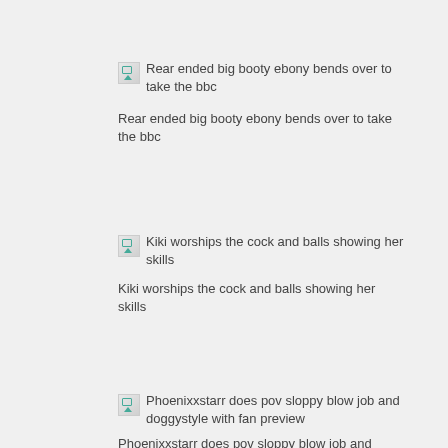[Figure (other): Broken image thumbnail with alt text: Rear ended big booty ebony bends over to take the bbc]
Rear ended big booty ebony bends over to take the bbc
[Figure (other): Broken image thumbnail with alt text: Kiki worships the cock and balls showing her skills]
Kiki worships the cock and balls showing her skills
[Figure (other): Broken image thumbnail with alt text: Phoenixxstarr does pov sloppy blow job and doggystyle with fan preview]
Phoenixxstarr does pov sloppy blow job and